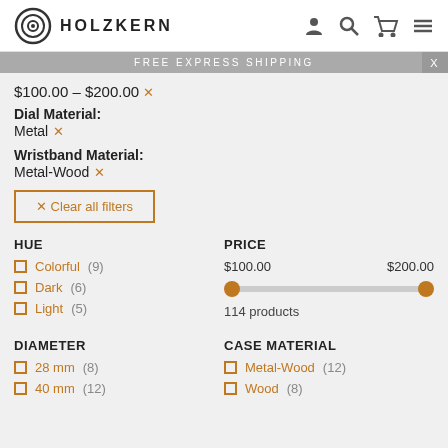HOLZKERN
FREE EXPRESS SHIPPING
$100.00 - $200.00 ×
Dial Material:
Metal ×
Wristband Material:
Metal-Wood ×
× Clear all filters
HUE
Colorful (9)
Dark (6)
Light (5)
PRICE
$100.00   $200.00
114 products
DIAMETER
28 mm (8)
40 mm (12)
CASE MATERIAL
Metal-Wood (12)
Wood (8)